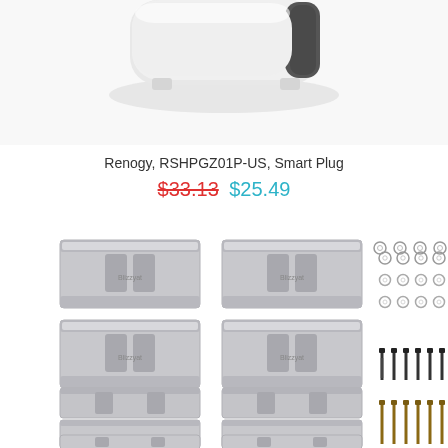[Figure (photo): Partial view of a Renogy Smart Plug device, showing the top portion with white and dark grey body on a white background]
Renogy, RSHPGZ01P-US, Smart Plug
$33.13  $25.49
[Figure (photo): Solar panel mounting hardware kit showing multiple aluminum Z-brackets in two columns (4 rows of 2 each), plus rows of nuts/washers and screws/bolts on the right side, on white background]